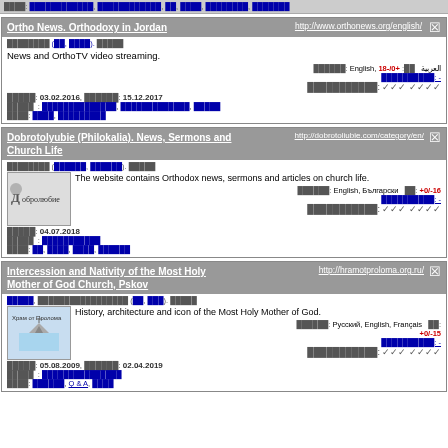Partial top bar with links
Ortho News. Orthodoxy in Jordan | http://www.orthonews.org/english/
News and OrthoTV video streaming.
Language: English, العربية  Rating: +0/-18  Votes: -  Reliability checks
Added: 03.02.2016, Updated: 15.12.2017  Category: ..., ..., ...  Tags: ..., ...
Dobrotolyubie (Philokalia). News, Sermons and Church Life | http://dobrotoliubie.com/category/en/
The website contains Orthodox news, sermons and articles on church life.
Language: English, Български  Rating: +0/-16  Votes: -  Reliability checks
Added: 04.07.2018  Category: ...  Tags: ..., ..., ..., ...
Intercession and Nativity of the Most Holy Mother of God Church, Pskov | http://hramotproloma.org.ru/
History, architecture and icon of the Most Holy Mother of God.
Language: Русский, English, Français  Rating: +0/-15  Votes: -  Reliability checks
Added: 05.08.2009, Updated: 02.04.2019  Category: ...  Tags: ..., Q & A, ...